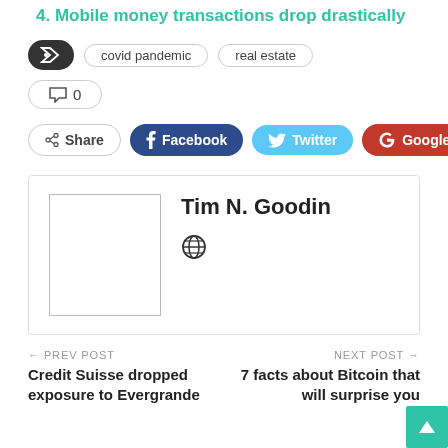4. Mobile money transactions drop drastically
Tags: covid pandemic, real estate
Comments: 0
Share | Facebook | Twitter | Google+
Tim N. Goodin
PREV POST
Credit Suisse dropped exposure to Evergrande
NEXT POST
7 facts about Bitcoin that will surprise you